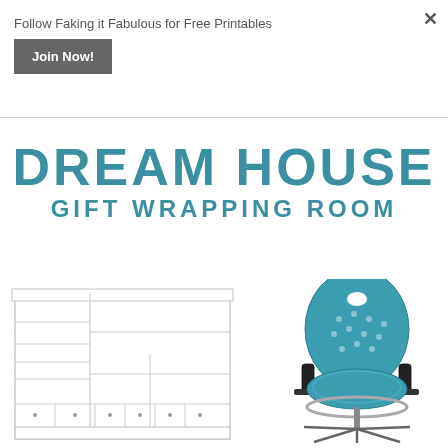Follow Faking it Fabulous for Free Printables
Join Now!
DREAM HOUSE GIFT WRAPPING ROOM
[Figure (photo): White storage shelving unit with compartments and drawers]
[Figure (photo): Teal/blue ergonomic office chair with black armrests and chrome base]